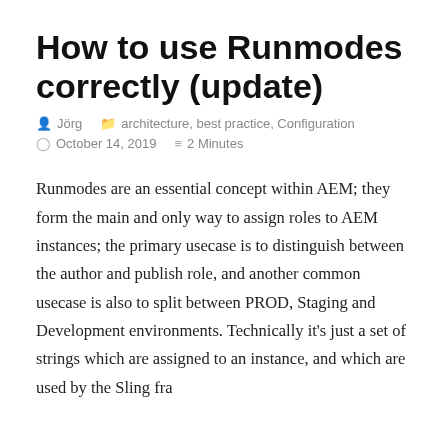How to use Runmodes correctly (update)
Jörg   architecture, best practice, Configuration   October 14, 2019   2 Minutes
Runmodes are an essential concept within AEM; they form the main and only way to assign roles to AEM instances; the primary usecase is to distinguish between the author and publish role, and another common usecase is also to split between PROD, Staging and Development environments. Technically it's just a set of strings which are assigned to an instance, and which are used by the Sling framework to form a service the...